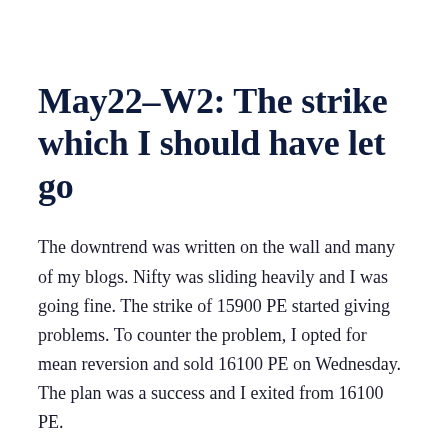May22–W2: The strike which I should have let go
The downtrend was written on the wall and many of my blogs. Nifty was sliding heavily and I was going fine. The strike of 15900 PE started giving problems. To counter the problem, I opted for mean reversion and sold 16100 PE on Wednesday. The plan was a success and I exited from 16100 PE.
However, I did not exit from 15900 PE. Why? Because I stupidly believed in the Thursday expiry. Also, I did not want to have a red figure on my otherwise super green P&L. I